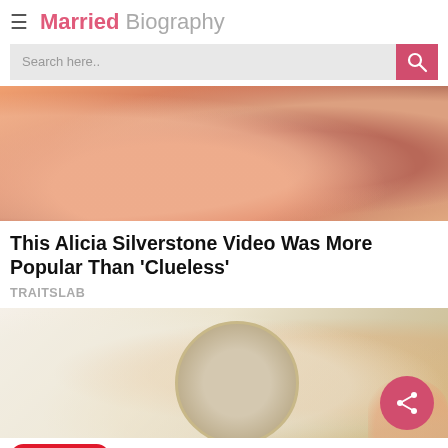Married Biography
Search here..
[Figure (photo): Close-up image of hands, warm orange-pink tones, appears to be from a music video]
This Alicia Silverstone Video Was More Popular Than 'Clueless'
TRAITSLAB
[Figure (photo): Rice grains and a bowl with liquid, a hand visible on the right side]
Next Bio >> Richard Belzer